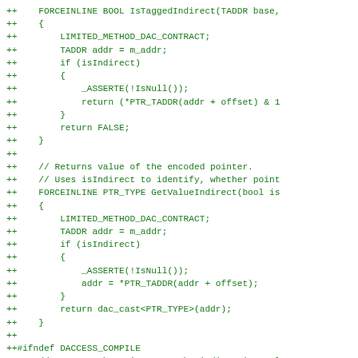++ FORCEINLINE BOOL IsTaggedIndirect(TADDR base,
++     {
++         LIMITED_METHOD_DAC_CONTRACT;
++         TADDR addr = m_addr;
++         if (isIndirect)
++         {
++             _ASSERTE(!IsNull());
++             return (*PTR_TADDR(addr + offset) & 1
++         }
++         return FALSE;
++     }
++
++     // Returns value of the encoded pointer.
++     // Uses isIndirect to identify, whether point
++     FORCEINLINE PTR_TYPE GetValueIndirect(bool is
++     {
++         LIMITED_METHOD_DAC_CONTRACT;
++         TADDR addr = m_addr;
++         if (isIndirect)
++         {
++             _ASSERTE(!IsNull());
++             addr = *PTR_TADDR(addr + offset);
++         }
++         return dac_cast<PTR_TYPE>(addr);
++     }
++
++#ifndef DACCESS_COMPILE
++     // Returns the pointer to the indirection cel
++     // Uses isIndirect to identify, whether point
++     PTR_TYPE * GetValuePtrIndirect(bool isIndirec